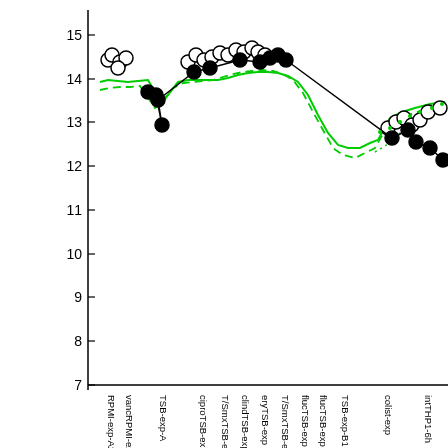[Figure (continuous-plot): Scatter plot with loess/smoothing lines showing gene expression data (y-axis: 7-15 range, log scale) across multiple experimental conditions on x-axis. Data points shown as open circles and filled circles (black), with green solid and dashed smoothing lines. X-axis labels include: RPMI-exp-A2, vancRPMI-exp, TSB-exp-A, ciproTSB-exp, T/SmxTSB-exp, clindTSB-exp, eryTSB-exp, T/SmxTSB-exp, flucTSB-exp, flucTSB-exp, TSB-exp-B1, colist-exp, intTHP1-6h]